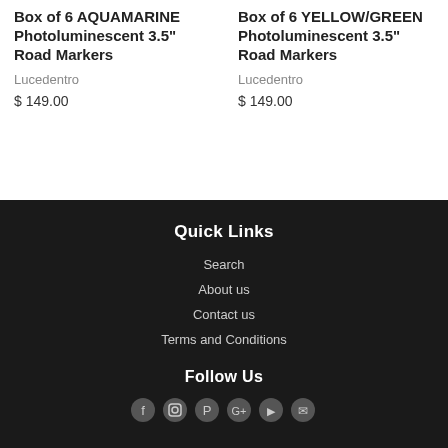Box of 6 AQUAMARINE Photoluminescent 3.5" Road Markers
Lucedentro
$ 149.00
Box of 6 YELLOW/GREEN Photoluminescent 3.5" Road Markers
Lucedentro
$ 149.00
Quick Links
Search
About us
Contact us
Terms and Conditions
Follow Us
[Figure (other): Row of social media icons at the bottom of the footer]